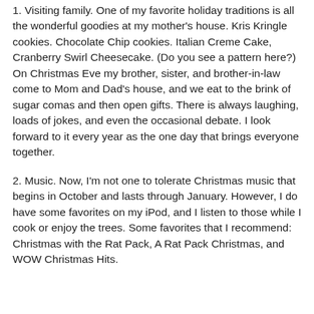1. Visiting family. One of my favorite holiday traditions is all the wonderful goodies at my mother's house. Kris Kringle cookies. Chocolate Chip cookies. Italian Creme Cake, Cranberry Swirl Cheesecake. (Do you see a pattern here?) On Christmas Eve my brother, sister, and brother-in-law come to Mom and Dad's house, and we eat to the brink of sugar comas and then open gifts. There is always laughing, loads of jokes, and even the occasional debate. I look forward to it every year as the one day that brings everyone together.
2. Music. Now, I'm not one to tolerate Christmas music that begins in October and lasts through January. However, I do have some favorites on my iPod, and I listen to those while I cook or enjoy the trees. Some favorites that I recommend: Christmas with the Rat Pack, A Rat Pack Christmas, and WOW Christmas Hits.